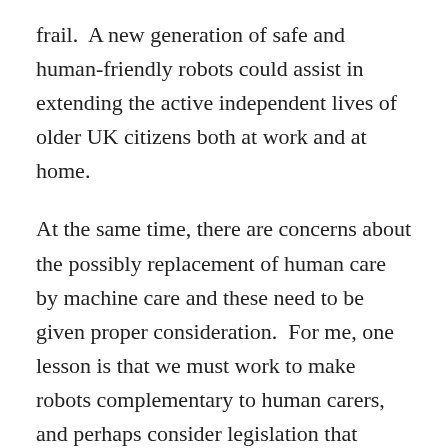frail.  A new generation of safe and human-friendly robots could assist in extending the active independent lives of older UK citizens both at work and at home.
At the same time, there are concerns about the possibly replacement of human care by machine care and these need to be given proper consideration.  For me, one lesson is that we must work to make robots complementary to human carers, and perhaps consider legislation that protects a basic right to some direct human contact.